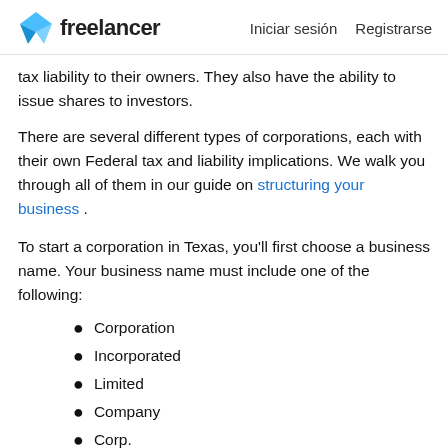freelancer | Iniciar sesión  Registrarse
tax liability to their owners. They also have the ability to issue shares to investors.
There are several different types of corporations, each with their own Federal tax and liability implications. We walk you through all of them in our guide on structuring your business .
To start a corporation in Texas, you'll first choose a business name. Your business name must include one of the following:
Corporation
Incorporated
Limited
Company
Corp.